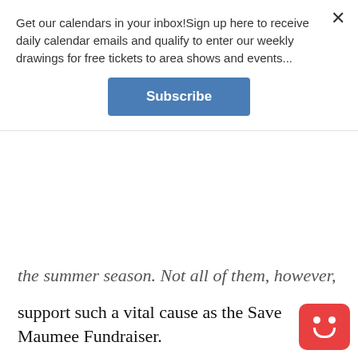Get our calendars in your inbox!Sign up here to receive daily calendar emails and qualify to enter our weekly drawings for free tickets to area shows and events...
Subscribe
the summer season. Not all of them, however, support such a vital cause as the Save Maumee Fundraiser.
Six years strong, Save Maumee Grassroots Organization's annual fundraiser is not only a fantastic time for the whole family, but an important financial source for the eco-friendly nonprofit.
This year's event will be Sunday, June 26, at The